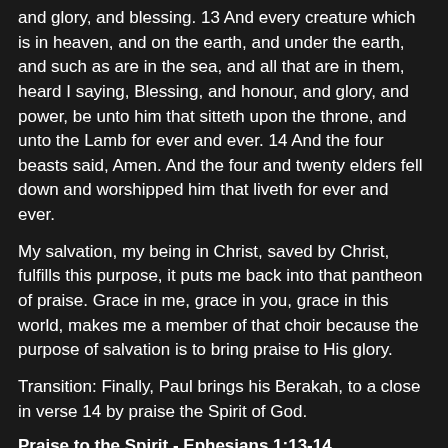and glory, and blessing. 13 And every creature which is in heaven, and on the earth, and under the earth, and such as are in the sea, and all that are in them, heard I saying, Blessing, and honour, and glory, and power, be unto him that sitteth upon the throne, and unto the Lamb for ever and ever. 14 And the four beasts said, Amen. And the four and twenty elders fell down and worshipped him that liveth for ever and ever.
My salvation, my being in Christ, saved by Christ, fulfills this purpose, it puts me back into that pantheon of praise. Grace in me, grace in you, grace in this world, makes me a member of that choir because the purpose of salvation is to bring praise to His glory.
Transition: Finally, Paul brings his Berakah, to a close in verse 14 by praise the Spirit of God.
Praise to the Spirit - Ephesians 1:13-14
In whom ye also trusted, after that ye heard the word of truth, the gospel of your salvation: in whom also after that ye believed, ye were sealed with that Holy Spirit of promise, Which is the earnest of our inheritance until the redemption...